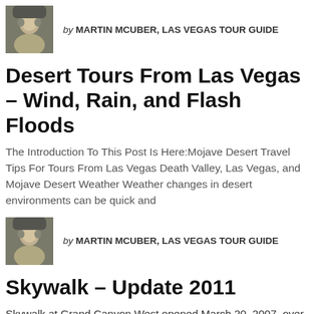[Figure (photo): Small portrait photo of Martin McUber, a man with gray hair]
by MARTIN MCUBER, LAS VEGAS TOUR GUIDE
Desert Tours From Las Vegas – Wind, Rain, and Flash Floods
The Introduction To This Post Is Here:Mojave Desert Travel Tips For Tours From Las Vegas Death Valley, Las Vegas, and Mojave Desert Weather Weather changes in desert environments can be quick and
[Figure (photo): Small portrait photo of Martin McUber, a man with gray hair]
by MARTIN MCUBER, LAS VEGAS TOUR GUIDE
Skywalk – Update 2011
Skywalk at Grand Canyon West opened March 20, 2007, over 4 years ago. Skywalk 2011Progress Continues at Grand Canyon West Much has changed since then; the experience at Grand Canyon West is...